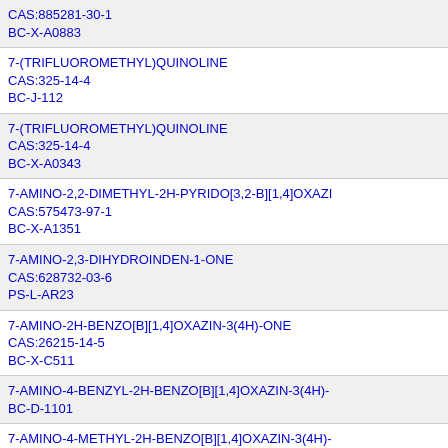CAS:885281-30-1
BC-X-A0883
7-(TRIFLUOROMETHYL)QUINOLINE
CAS:325-14-4
BC-J-112
7-(TRIFLUOROMETHYL)QUINOLINE
CAS:325-14-4
BC-X-A0343
7-AMINO-2,2-DIMETHYL-2H-PYRIDO[3,2-B][1,4]OXAZI...
CAS:575473-97-1
BC-X-A1351
7-AMINO-2,3-DIHYDROINDEN-1-ONE
CAS:628732-03-6
PS-L-AR23
7-AMINO-2H-BENZO[B][1,4]OXAZIN-3(4H)-ONE
CAS:26215-14-5
BC-X-C511
7-AMINO-4-BENZYL-2H-BENZO[B][1,4]OXAZIN-3(4H)-...
BC-D-1101
7-AMINO-4-METHYL-2H-BENZO[B][1,4]OXAZIN-3(4H)-...
CAS:141068-81-7
BC-X-C518
7-AMINO-4-METHYL-2H-BENZO[B][1,4]OXAZIN-3(4H)-...
CAS:141068-81-7
BC-J-453
7-AMINOQUINOLIN-2(1H)-ONE
CAS:58336-33-7
BC-X-C584
7-AMINOQUINOLIN-2(1H)-ONE